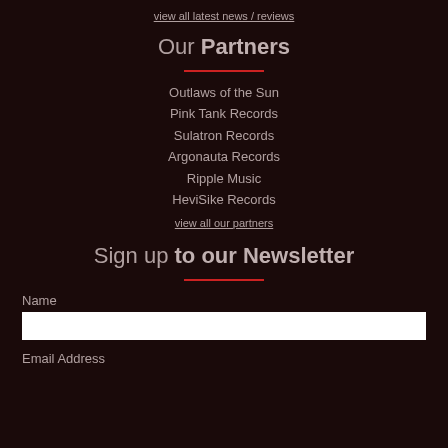view all latest news / reviews
Our Partners
Outlaws of the Sun
Pink Tank Records
Sulatron Records
Argonauta Records
Ripple Music
HeviSike Records
view all our partners
Sign up to our Newsletter
Name
Email Address